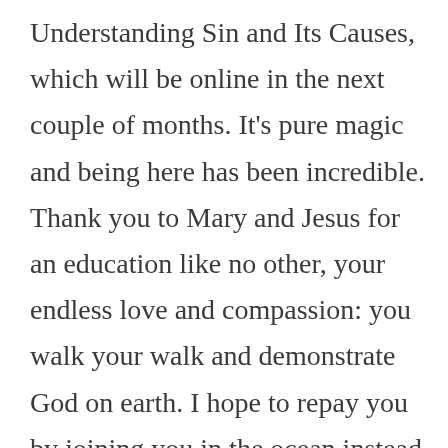Understanding Sin and Its Causes, which will be online in the next couple of months. It's pure magic and being here has been incredible. Thank you to Mary and Jesus for an education like no other, your endless love and compassion: you walk your walk and demonstrate God on earth. I hope to repay you by joining you in the ocean instead of just talking about it!